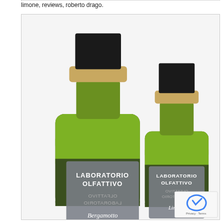limone, reviews, roberto drago.
[Figure (photo): Two green glass perfume bottles from Laboratorio Olfattivo. The larger bottle on the left is labeled 'Bergamotto' and the smaller bottle on the right is labeled 'Limone'. Both bottles have gold and black caps, dark green glass bodies, and grey metallic labels bearing the brand name 'LABORATORIO OLFATTIVO'.]